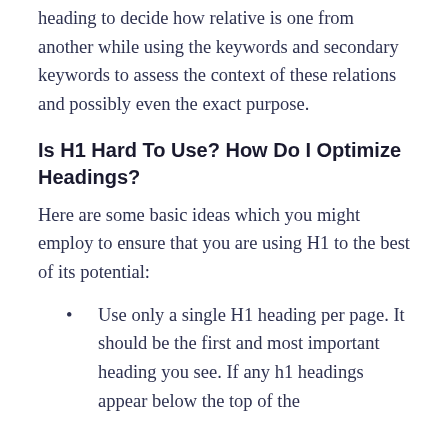heading to decide how relative is one from another while using the keywords and secondary keywords to assess the context of these relations and possibly even the exact purpose.
Is H1 Hard To Use? How Do I Optimize Headings?
Here are some basic ideas which you might employ to ensure that you are using H1 to the best of its potential:
Use only a single H1 heading per page. It should be the first and most important heading you see. If any h1 headings appear below the top of the